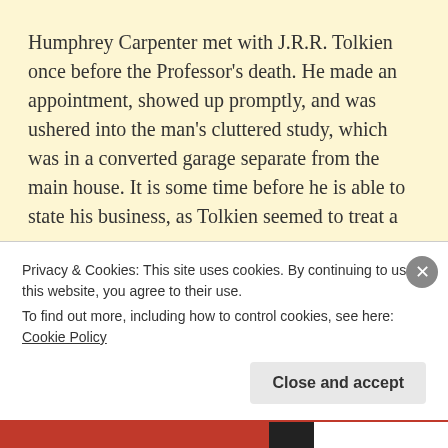Humphrey Carpenter met with J.R.R. Tolkien once before the Professor's death. He made an appointment, showed up promptly, and was ushered into the man's cluttered study, which was in a converted garage separate from the main house. It is some time before he is able to state his business, as Tolkien seemed to treat a
Continue reading →
Privacy & Cookies: This site uses cookies. By continuing to use this website, you agree to their use.
To find out more, including how to control cookies, see here: Cookie Policy